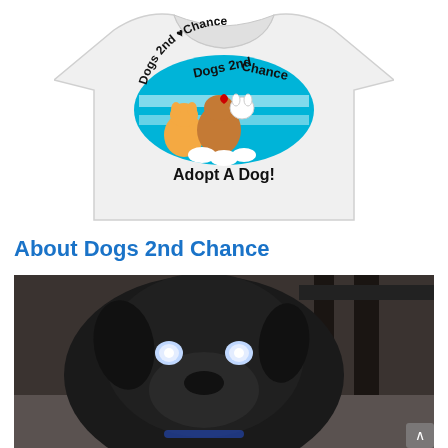[Figure (photo): White t-shirt with Dogs 2nd Chance logo showing cartoon dogs grouped together with text 'Dogs 2nd Chance Adopt A Dog!' on the shirt front]
About Dogs 2nd Chance
[Figure (photo): Close-up photo of a black dog with glowing eyes looking directly at the camera, indoors with dark background and a chair visible]